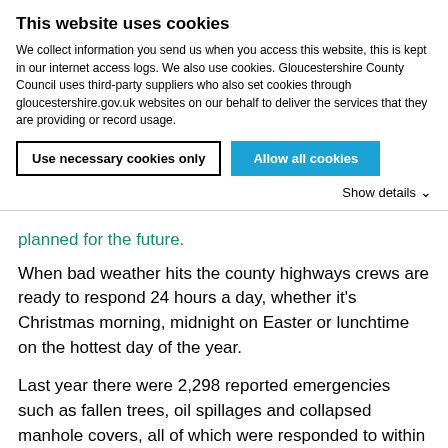This website uses cookies
We collect information you send us when you access this website, this is kept in our internet access logs. We also use cookies. Gloucestershire County Council uses third-party suppliers who also set cookies through gloucestershire.gov.uk websites on our behalf to deliver the services that they are providing or record usage.
Use necessary cookies only | Allow all cookies
Show details
planned for the future.
When bad weather hits the county highways crews are ready to respond 24 hours a day, whether it's Christmas morning, midnight on Easter or lunchtime on the hottest day of the year.
Last year there were 2,298 reported emergencies such as fallen trees, oil spillages and collapsed manhole covers, all of which were responded to within two hours.
Crews also assist the emergency services following road